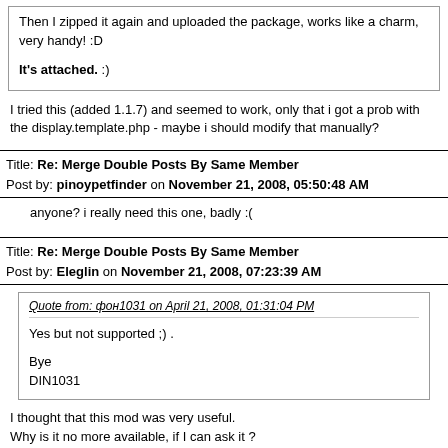Then I zipped it again and uploaded the package, works like a charm, very handy! :D

It's attached. :)
I tried this (added 1.1.7) and seemed to work, only that i got a prob with the display.template.php - maybe i should modify that manually?
Title: Re: Merge Double Posts By Same Member
Post by: pinoypetfinder on November 21, 2008, 05:50:48 AM
anyone? i really need this one, badly :(
Title: Re: Merge Double Posts By Same Member
Post by: Eleglin on November 21, 2008, 07:23:39 AM
Quote from: DIN1031 on April 21, 2008, 01:31:04 PM

Yes but not supported ;) .

Bye
DIN1031
I thought that this mod was very useful.
Why is it no more available, if I can ask it ?